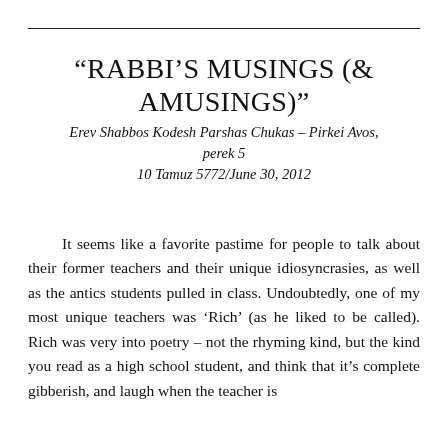“RABBI’S MUSINGS (& AMUSINGS)”
Erev Shabbos Kodesh Parshas Chukas – Pirkei Avos, perek 5
10 Tamuz 5772/June 30, 2012
It seems like a favorite pastime for people to talk about their former teachers and their unique idiosyncrasies, as well as the antics students pulled in class. Undoubtedly, one of my most unique teachers was ‘Rich’ (as he liked to be called). Rich was very into poetry – not the rhyming kind, but the kind you read as a high school student, and think that it’s complete gibberish, and laugh when the teacher is